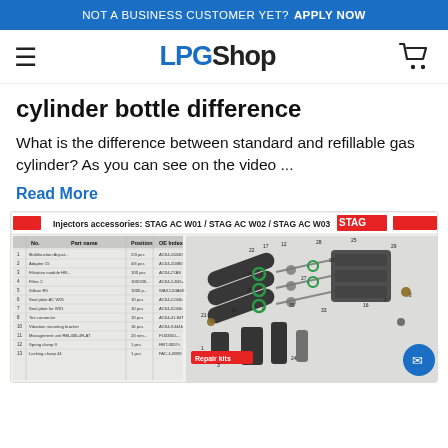NOT A BUSINESS CUSTOMER YET? APPLY NOW
LPG Shop
cylinder bottle difference
What is the difference between standard and refillable gas cylinder? As you can see on the video ...
Read More
[Figure (engineering-diagram): STAG injectors accessories exploded parts diagram for STAG AC W01 / STAG AC W02 / STAG AC W03, showing numbered components with a parts list table on the left and 3D exploded view on the right. Includes a Repair kits section label.]